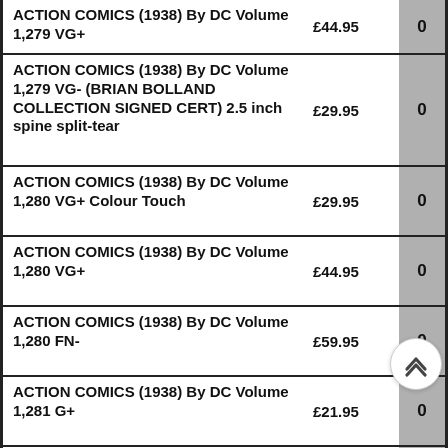| Item | Price | Qty |
| --- | --- | --- |
| ACTION COMICS (1938) By DC Volume 1,279 VG+ | £44.95 | 0 |
| ACTION COMICS (1938) By DC Volume 1,279 VG- (BRIAN BOLLAND COLLECTION SIGNED CERT) 2.5 inch spine split-tear | £29.95 | 0 |
| ACTION COMICS (1938) By DC Volume 1,280 VG+ Colour Touch | £29.95 | 0 |
| ACTION COMICS (1938) By DC Volume 1,280 VG+ | £44.95 | 0 |
| ACTION COMICS (1938) By DC Volume 1,280 FN- | £59.95 | 0 |
| ACTION COMICS (1938) By DC Volume 1,281 G+ | £21.95 | 0 |
| ACTION COMICS (1938) By DC Volume 1,281 VG | £37.95 | 0 |
| ACTION COMICS (1938) By DC Volume 1,281 VG+ | £44.95 | 0 |